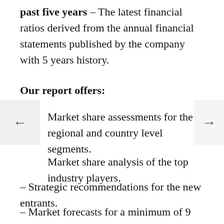past five years – The latest financial ratios derived from the annual financial statements published by the company with 5 years history.
Our report offers:
Market share assessments for the regional and country level segments.
Market share analysis of the top industry players.
– Strategic recommendations for the new entrants.
– Market forecasts for a minimum of 9 years of all the mentioned segments, sub segments and the regional markets.